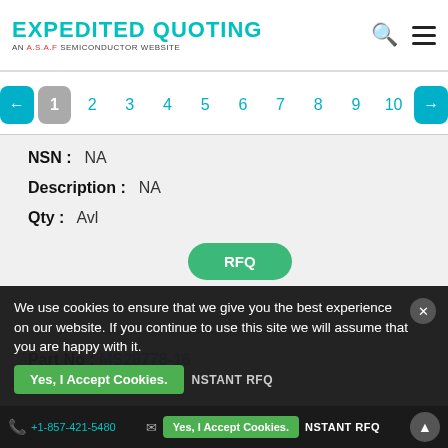EXPEDITED QUOTING - AN A.S.A.P SEMICONDUCTOR WEBSITE
← 1 2 3 4 5 6 7 8 9 10 →
NSN: NA
Description: NA
Qty: Avl
RFQ
Part No: MS28778-16
NSN: NA
Description: NA
We use cookies to ensure that we give you the best experience on our website. If you continue to use this site we will assume that you are happy with it.
Yes, I Accept Cookies.
+1-857-421-5480   INSTANT RFQ